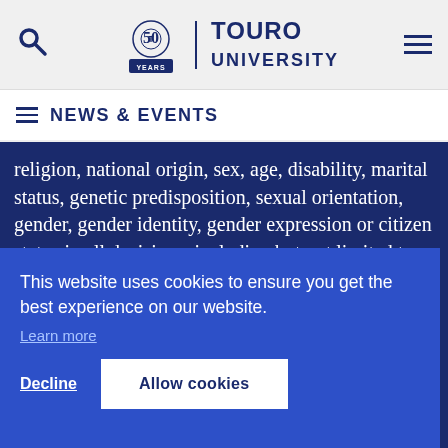Touro University – 50 Years
NEWS & EVENTS
religion, national origin, sex, age, disability, marital status, genetic predisposition, sexual orientation, gender, gender identity, gender expression or citizen status in all decisions, including but not limited to
This website uses cookies to ensure you get the best experience on our website. Learn more
Decline   Allow cookies